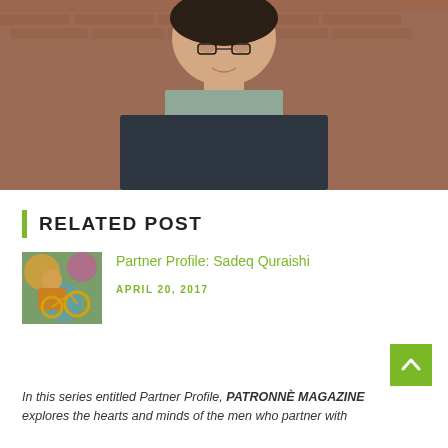[Figure (photo): Portrait photo of a young man in a dark navy sweater and light gray collared shirt, standing in front of a red brick wall, smiling slightly at the camera.]
RELATED POST
[Figure (photo): Thumbnail photo of a man in a yellow/orange jacket standing next to a yellow bicycle in front of a colorful background.]
Partner Profile: Sadeq Quraishi
APRIL 20, 2017
In this series entitled Partner Profile, PATRONNÈ MAGAZINE explores the hearts and minds of the men who partner with